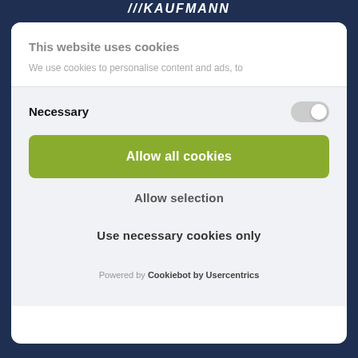KAUFMANN
This website uses cookies
We use cookies to personalise content and ads, to
Necessary
Allow all cookies
Allow selection
Use necessary cookies only
Powered by Cookiebot by Usercentrics